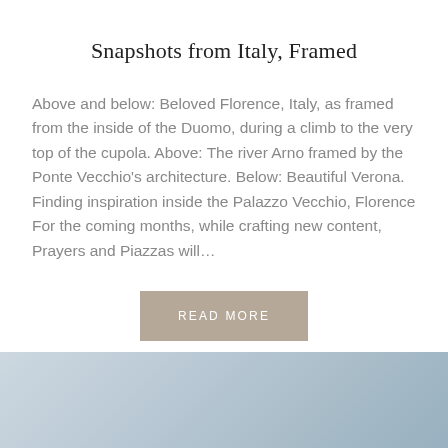Snapshots from Italy, Framed
Above and below: Beloved Florence, Italy, as framed from the inside of the Duomo, during a climb to the very top of the cupola. Above: The river Arno framed by the Ponte Vecchio's architecture. Below: Beautiful Verona. Finding inspiration inside the Palazzo Vecchio, Florence For the coming months, while crafting new content, Prayers and Piazzas will…
READ MORE
[Figure (photo): Light blue-grey photo strip at the bottom of the page, partial view of an outdoor scene]